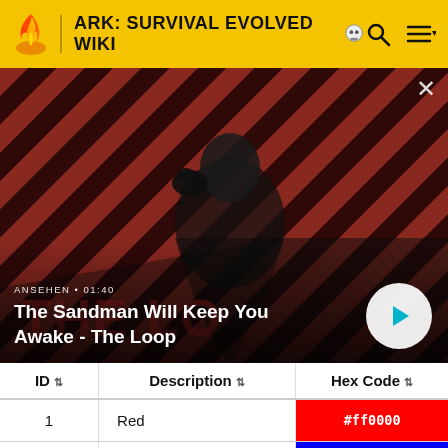ARK: SURVIVAL EVOLVED WIKI
[Figure (screenshot): Video thumbnail showing a dark-cloaked figure with a raven, on a red and dark striped background. Video title 'The Sandman Will Keep You Awake - The Loop', duration 01:40, with play button overlay.]
| ID | Description | Hex Code |
| --- | --- | --- |
| 1 | Red | #ff0000 |
| 2 | Blue | #0000ff |
| 3 | Green | #00ff00 |